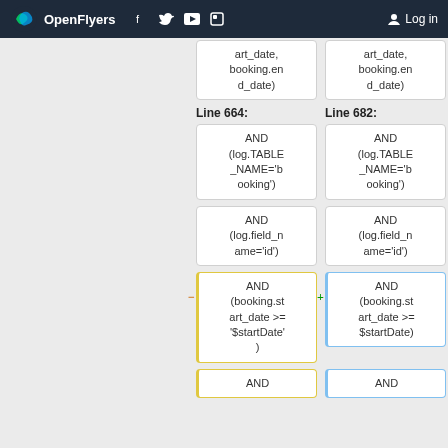OpenFlyers | Log in
art_date, booking.end_date)
art_date, booking.end_date)
Line 664:
Line 682:
AND (log.TABLE_NAME='booking')
AND (log.TABLE_NAME='booking')
AND (log.field_name='id')
AND (log.field_name='id')
AND (booking.start_date >= '$startDate')
AND (booking.start_date >= $startDate)
AND
AND